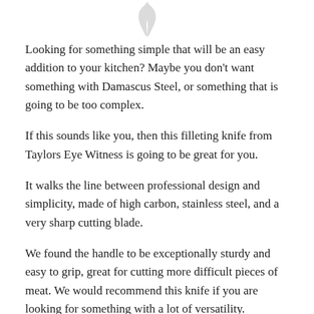[Figure (illustration): Partial logo or illustration at the top center of the page, showing a grey feather or leaf-like shape.]
Looking for something simple that will be an easy addition to your kitchen? Maybe you don't want something with Damascus Steel, or something that is going to be too complex.
If this sounds like you, then this filleting knife from Taylors Eye Witness is going to be great for you.
It walks the line between professional design and simplicity, made of high carbon, stainless steel, and a very sharp cutting blade.
We found the handle to be exceptionally sturdy and easy to grip, great for cutting more difficult pieces of meat. We would recommend this knife if you are looking for something with a lot of versatility.